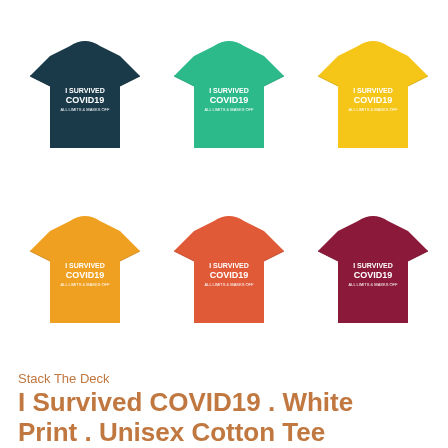[Figure (photo): Six t-shirts displayed in a 2x3 grid, each with 'I Survived COVID19' white text print. Colors: top row left to right: dark teal/navy, teal/green, yellow; bottom row: orange/gold, orange-red, dark red/maroon.]
Stack The Deck
I Survived COVID19 . White Print . Unisex Cotton Tee